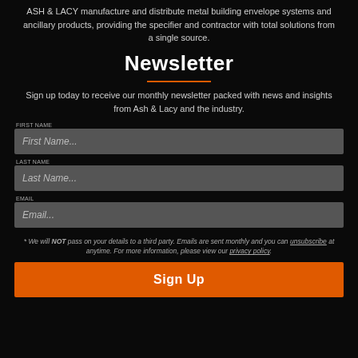ASH & LACY manufacture and distribute metal building envelope systems and ancillary products, providing the specifier and contractor with total solutions from a single source.
Newsletter
Sign up today to receive our monthly newsletter packed with news and insights from Ash & Lacy and the industry.
FIRST NAME
First Name...
LAST NAME
Last Name...
EMAIL
Email...
* We will NOT pass on your details to a third party. Emails are sent monthly and you can unsubscribe at anytime. For more information, please view our privacy policy.
Sign Up